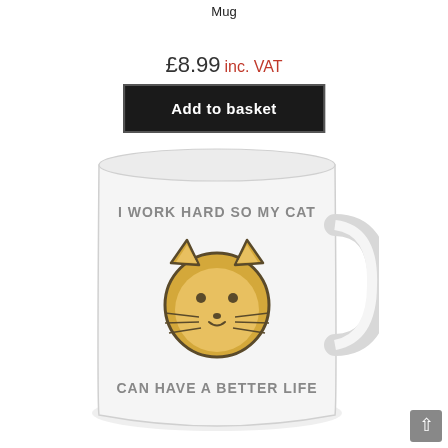Mug
£8.99 inc. VAT
Add to basket
[Figure (photo): A white ceramic mug with the text 'I WORK HARD SO MY CAT CAN HAVE A BETTER LIFE' and a cartoon cat face illustration on the front. The mug is shown at an angle revealing its handle on the right side.]